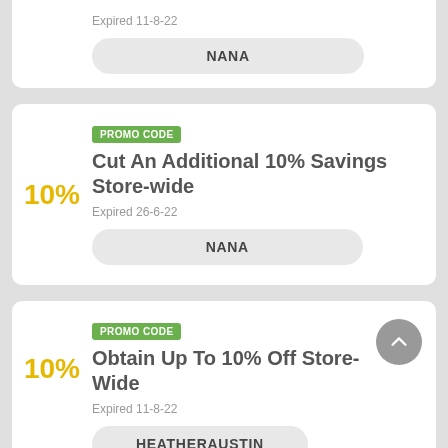Expired 11-8-22
NANA
PROMO CODE
Cut An Additional 10% Savings Store-wide
Expired 26-6-22
NANA
PROMO CODE
Obtain Up To 10% Off Store-Wide
Expired 11-8-22
HEATHERAUSTIN